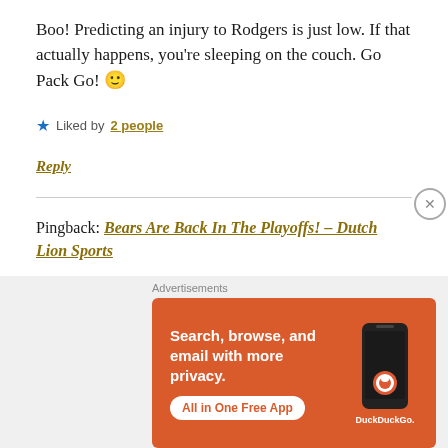Boo! Predicting an injury to Rodgers is just low. If that actually happens, you're sleeping on the couch. Go Pack Go! 🙂
★ Liked by 2 people
Reply
Pingback: Bears Are Back In The Playoffs! – Dutch Lion Sports
Advertisements
[Figure (screenshot): DuckDuckGo advertisement banner on orange background: 'Search, browse, and email with more privacy. All in One Free App' with phone graphic and DuckDuckGo logo]